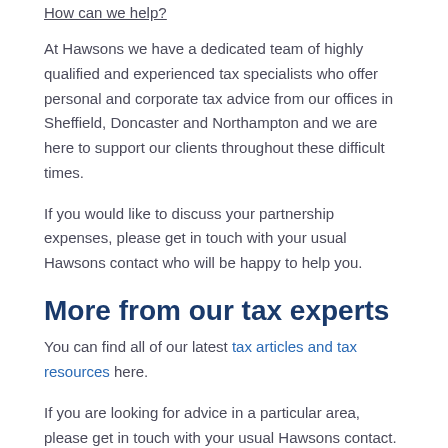How can we help?
At Hawsons we have a dedicated team of highly qualified and experienced tax specialists who offer personal and corporate tax advice from our offices in Sheffield, Doncaster and Northampton and we are here to support our clients throughout these difficult times.
If you would like to discuss your partnership expenses, please get in touch with your usual Hawsons contact who will be happy to help you.
More from our tax experts
You can find all of our latest tax articles and tax resources here.
If you are looking for advice in a particular area, please get in touch with your usual Hawsons contact.